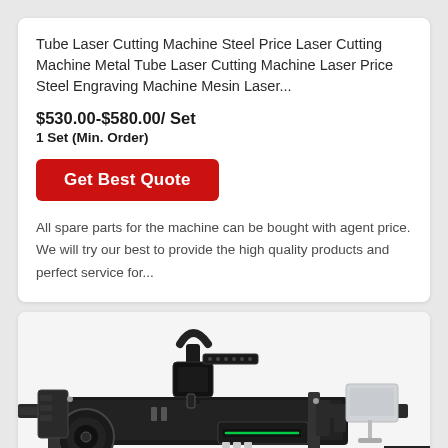Tube Laser Cutting Machine Steel Price Laser Cutting Machine Metal Tube Laser Cutting Machine Laser Price Steel Engraving Machine Mesin Laser...
$530.00-$580.00/ Set
1 Set (Min. Order)
Get Best Quote
All spare parts for the machine can be bought with agent price. We will try our best to provide the high quality products and perfect service for...
[Figure (photo): Photo of a tube laser cutting machine — a large industrial black CNC laser cutter with a long rail system for tube cutting, a cutting head mounted on a gantry, and a monitor/control panel on the right side.]